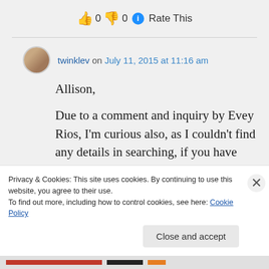👍 0 👎 0 ℹ Rate This
twinklev on July 11, 2015 at 11:16 am
Allison,

Due to a comment and inquiry by Evey Rios, I'm curious also, as I couldn't find any details in searching, if you have any
Privacy & Cookies: This site uses cookies. By continuing to use this website, you agree to their use.
To find out more, including how to control cookies, see here: Cookie Policy
Close and accept